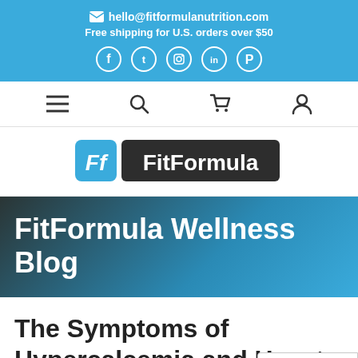hello@fitformulanutrition.com
Free shipping for U.S. orders over $50
[Figure (logo): FitFormula logo with Ff icon in blue square and FitFormula text on dark background]
FitFormula Wellness Blog
The Symptoms of Hypercalcemia and How to Avoid It